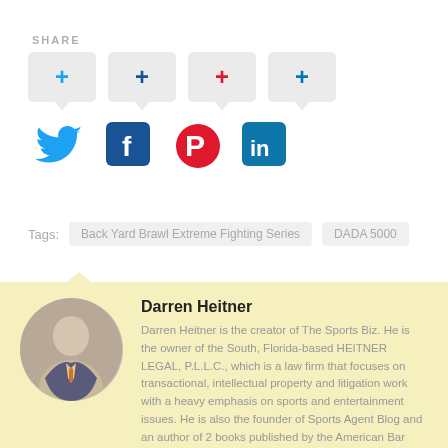SHARE
[Figure (infographic): Four social share buttons with plus icons (Twitter blue, Facebook dark blue, Pinterest red, LinkedIn light blue), each with a speech-bubble style dropdown arrow beneath. Below are four social media icons: Twitter bird (blue), Facebook f (dark blue square), Pinterest P (red circle), LinkedIn in (teal square).]
Tags:  Back Yard Brawl Extreme Fighting Series   DADA 5000
[Figure (photo): Author bio card with yellow background. Circular photo of Darren Heitner (man in suit). Purple edit button overlay. Author name: Darren Heitner. Bio text: Darren Heitner is the creator of The Sports Biz. He is the owner of the South, Florida-based HEITNER LEGAL, P.L.L.C., which is a law firm that focuses on transactional, intellectual property and litigation work with a heavy emphasis on sports and entertainment issues. He is also the founder of Sports Agent Blog and an author of 2 books published by the American Bar Association – How to Play the Game: What Every Sports Attorney Needs to Know (1st and 2nd Editions). Heitner contributed to Forbes and Inc. for many years.]